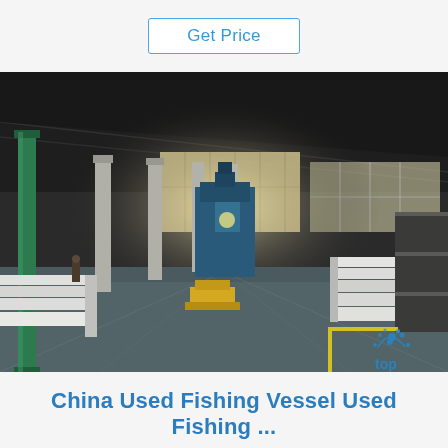Get Price
[Figure (photo): Interior of a large industrial warehouse/shipyard factory. The space has a high steel-truss ceiling, large windows along the back wall letting in bright light, concrete pillars, green structural columns on the left, and stacks of white flat panels (likely hull sections or steel sheets) on both left and right. A large blue press/industrial machine stands in the center. Workers and yellow equipment are visible on the floor. A watermark 'top' with a splashing water icon appears in the lower right corner.]
China Used Fishing Vessel Used Fishing ...